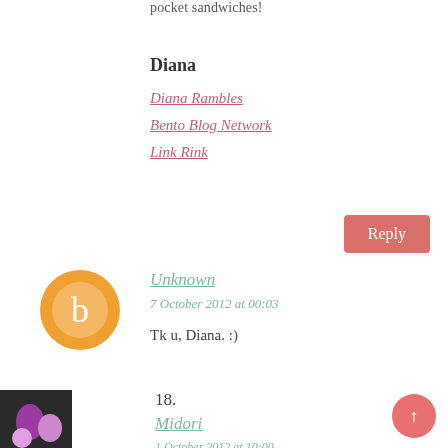pocket sandwiches!
Diana
Diana Rambles
Bento Blog Network
Link Rink
Reply
Unknown
7 October 2012 at 00:03
Tk u, Diana. :)
18.
Midori
1 October 2012 at 10:00